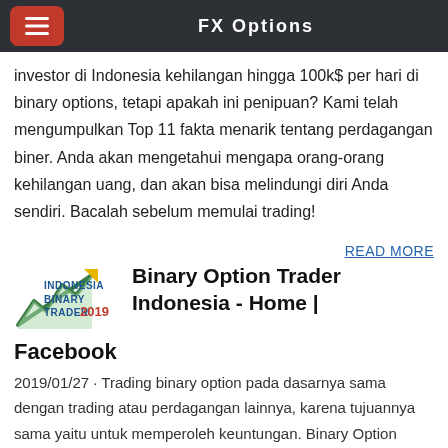FX Options
investor di Indonesia kehilangan hingga 100k$ per hari di binary options, tetapi apakah ini penipuan? Kami telah mengumpulkan Top 11 fakta menarik tentang perdagangan biner. Anda akan mengetahui mengapa orang-orang kehilangan uang, dan akan bisa melindungi diri Anda sendiri. Bacalah sebelum memulai trading!
READ MORE
[Figure (logo): Indonesia Binary Trader 2019 logo with a green and blue upward chart icon]
Binary Option Trader Indonesia - Home | Facebook
2019/01/27 · Trading binary option pada dasarnya sama dengan trading atau perdagangan lainnya, karena tujuannya sama yaitu untuk memperoleh keuntungan. Binary Option Indonesia adalah suatu instrumen finansial di mana Anda sebagai trader bisa membeli kontrak dari sebuah aset dan Anda bisa memperoleh keuntungan saat kontrak itu berakhir.